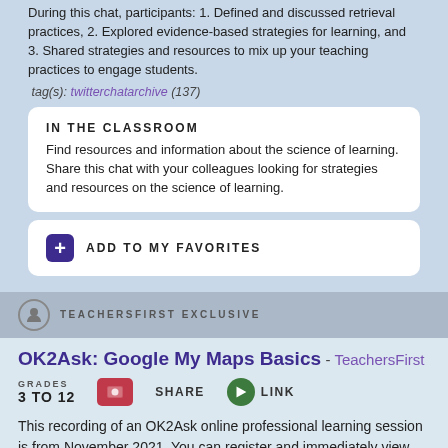During this chat, participants: 1. Defined and discussed retrieval practices, 2. Explored evidence-based strategies for learning, and 3. Shared strategies and resources to mix up your teaching practices to engage students.
tag(s): twitterchatarchive (137)
IN THE CLASSROOM
Find resources and information about the science of learning. Share this chat with your colleagues looking for strategies and resources on the science of learning.
ADD TO MY FAVORITES
TEACHERSFIRST EXCLUSIVE
OK2Ask: Google My Maps Basics - TeachersFirst
GRADES 3 TO 12
This recording of an OK2Ask online professional learning session is from November 2021. You can register and immediately view the archive of the session.
You've probably used Google Maps to find directions, but there are so many other things you can do with this tool in the